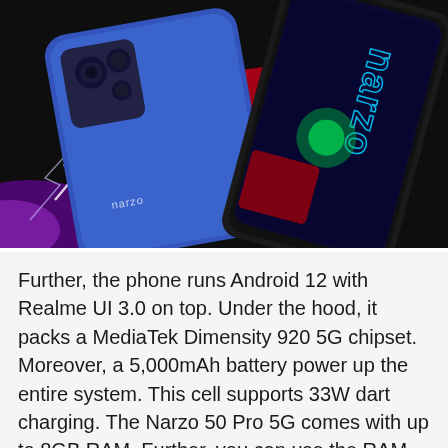[Figure (photo): Promotional photo of Realme Narzo 50 Pro 5G smartphones. Two phones shown: one in blue showing the back with triple camera module and Narzo branding, and one in dark color showing the front display with 'narzo' text on screen. Dark background with red and purple lightning bolt design elements.]
Further, the phone runs Android 12 with Realme UI 3.0 on top. Under the hood, it packs a MediaTek Dimensity 920 5G chipset. Moreover, a 5,000mAh battery power up the entire system. This cell supports 33W dart charging. The Narzo 50 Pro 5G comes with up to 8GB RAM. Further, you can use the RAM